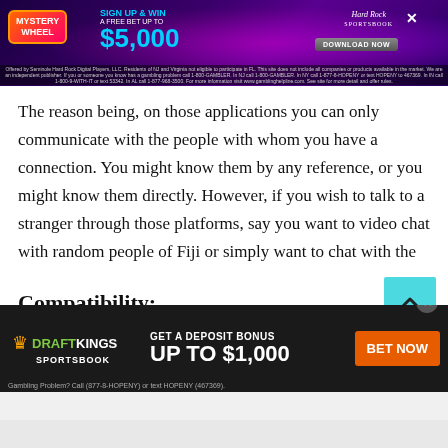[Figure (screenshot): Hard Rock Sportsbook banner ad: Mystery Wheel, Sign Up & Win a Free Bet up to $5,000, Download Now button, close button]
The reason being, on those applications you can only communicate with the people with whom you have a connection. You might know them by any reference, or you might know them directly. However, if you wish to talk to a stranger through those platforms, say you want to video chat with random people of Fiji or simply want to chat with the people of Fiji. This thing is not possible on those applications.
Compatibility:
[Figure (screenshot): DraftKings Sportsbook banner ad: Get a Deposit Bonus Up to $1,000, Bet Now button, Gambling Problem? Call (877-8-HOPENY) or text HOPENY (467369).]